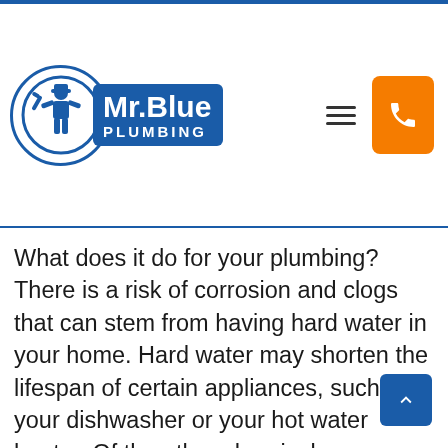[Figure (logo): Mr. Blue Plumbing logo with plumber figure in circle and blue rectangular badge with company name]
What does it do for your plumbing? There is a risk of corrosion and clogs that can stem from having hard water in your home. Hard water may shorten the lifespan of certain appliances, such as your dishwasher or your hot water heater. Of the other chemicals mentioned in the report, damages can also stem from them. For instance:
Fluoride: May weaken metal plumbing